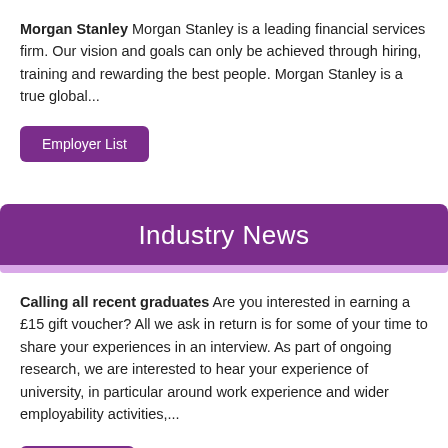Morgan Stanley  Morgan Stanley is a leading financial services firm. Our vision and goals can only be achieved through hiring, training and rewarding the best people. Morgan Stanley is a true global...
Employer List
Industry News
Calling all recent graduates   Are you interested in earning a £15 gift voucher?   All we ask in return is for some of your time to share   your experiences in an interview.   As part of ongoing research, we are interested to hear your experience of university, in particular around work experience and wider employability activities,...
More News